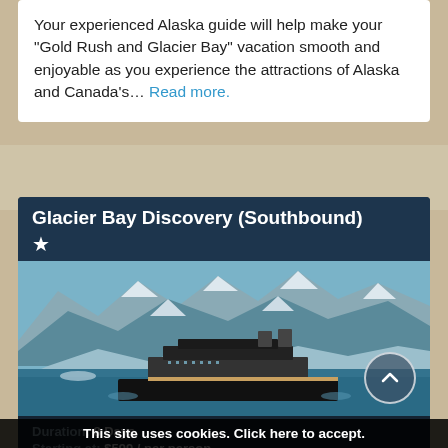Your experienced Alaska guide will help make your "Gold Rush and Glacier Bay" vacation smooth and enjoyable as you experience the attractions of Alaska and Canada's... Read more.
[Figure (screenshot): Cruise listing card for 'Glacier Bay Discovery (Southbound)' showing a cruise ship in glacial waters with snow-capped mountains in background. Duration: 8 Days, Starting at: $599 / per person]
This site uses cookies. Click here to accept.
Enjoy a one-way Inside Passage cruise from Whittier to Vancouver